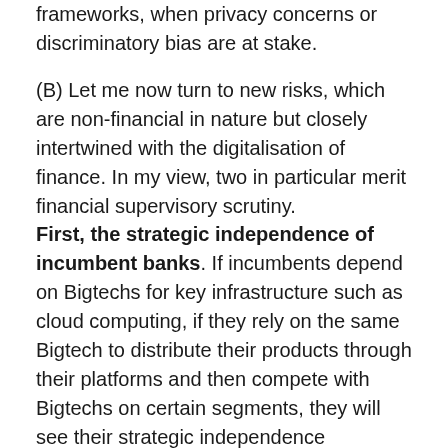frameworks, when privacy concerns or discriminatory bias are at stake.
(B) Let me now turn to new risks, which are non-financial in nature but closely intertwined with the digitalisation of finance. In my view, two in particular merit financial supervisory scrutiny.
First, the strategic independence of incumbent banks. If incumbents depend on Bigtechs for key infrastructure such as cloud computing, if they rely on the same Bigtech to distribute their products through their platforms and then compete with Bigtechs on certain segments, they will see their strategic independence challenged in the same way as hotels and retailers did. This process of commoditisation of incumbents may lower credit